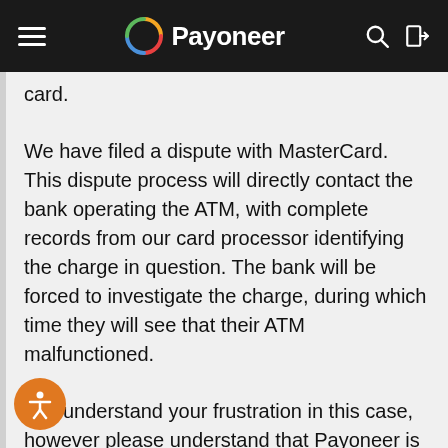Payoneer
card.
We have filed a dispute with MasterCard. This dispute process will directly contact the bank operating the ATM, with complete records from our card processor identifying the charge in question. The bank will be forced to investigate the charge, during which time they will see that their ATM malfunctioned.
I do understand your frustration in this case, however please understand that Payoneer is required to comply with strict rules and regulations pertaining to disputes. There are specific procedures that we must follow, and unfortunately the process does take some